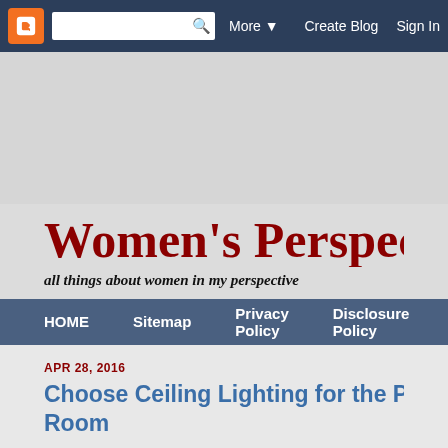Blogger navbar: [B icon] [search box] More ▼  Create Blog  Sign In
Women's Perspectiv
all things about women in my perspective
HOME  Sitemap  Privacy Policy  Disclosure Policy
APR 28, 2016
Choose Ceiling Lighting for the Perfect Ambianc… Room